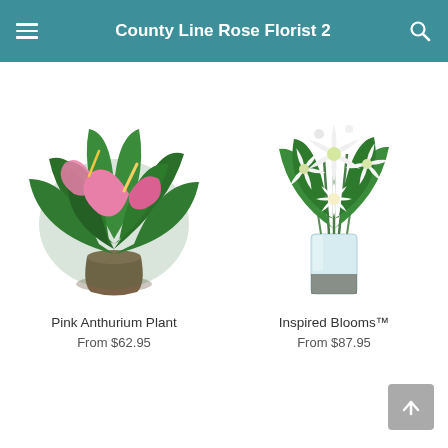County Line Rose Florist 2
[Figure (photo): Pink Anthurium Plant in a bronze/brown pot with large green leaves and pink flowers]
Pink Anthurium Plant
From $62.95
[Figure (photo): Inspired Blooms arrangement of white lilies and white flowers in a clear glass vase with green stems]
Inspired Blooms™
From $87.95